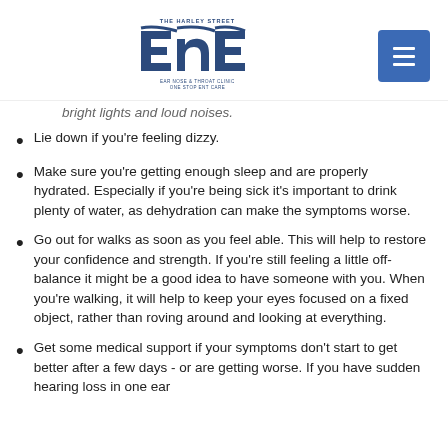The Harley Street ENT - Ear Nose & Throat Clinic - One Stop ENT Care
bright lights and loud noises.
Lie down if you're feeling dizzy.
Make sure you're getting enough sleep and are properly hydrated. Especially if you're being sick it's important to drink plenty of water, as dehydration can make the symptoms worse.
Go out for walks as soon as you feel able. This will help to restore your confidence and strength. If you're still feeling a little off-balance it might be a good idea to have someone with you. When you're walking, it will help to keep your eyes focused on a fixed object, rather than roving around and looking at everything.
Get some medical support if your symptoms don't start to get better after a few days - or are getting worse. If you have sudden hearing loss in one ear